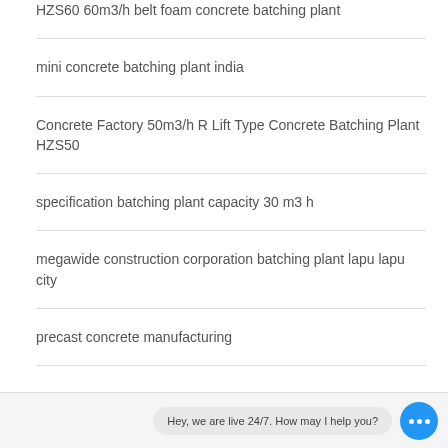HZS60 60m3/h belt foam concrete batching plant
mini concrete batching plant india
Concrete Factory 50m3/h R Lift Type Concrete Batching Plant HZS50
specification batching plant capacity 30 m3 h
megawide construction corporation batching plant lapu lapu city
precast concrete manufacturing
Hey, we are live 24/7. How may I help you?